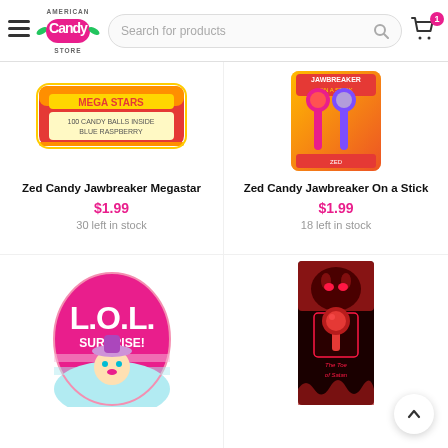American Candy Store — Search for products — Cart (1 item)
[Figure (photo): Zed Candy Jawbreaker Megastar product image — colorful candy bar packaging]
Zed Candy Jawbreaker Megastar
$1.99
30 left in stock
[Figure (photo): Zed Candy Jawbreaker On a Stick product image — orange packaging]
Zed Candy Jawbreaker On a Stick
$1.99
18 left in stock
[Figure (photo): LOL Surprise stationery set — pink egg-shaped product]
[Figure (photo): The Toe of Satan candy — dark horror-themed packaging with red candy]